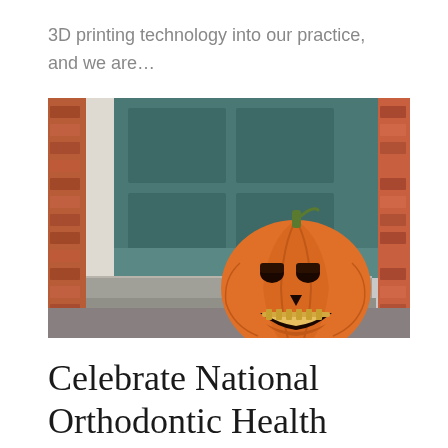3D printing technology into our practice, and we are...
[Figure (photo): A carved Halloween jack-o-lantern pumpkin sitting on stone steps in front of a teal/dark green door with white door frame and red brick walls. The pumpkin is carved with a face that has teeth resembling braces or orthodontic appliances.]
Celebrate National Orthodontic Health